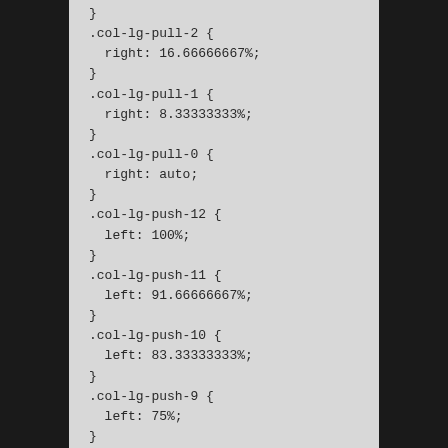}
.col-lg-pull-2 {
  right: 16.66666667%;
}
.col-lg-pull-1 {
  right: 8.33333333%;
}
.col-lg-pull-0 {
  right: auto;
}
.col-lg-push-12 {
  left: 100%;
}
.col-lg-push-11 {
  left: 91.66666667%;
}
.col-lg-push-10 {
  left: 83.33333333%;
}
.col-lg-push-9 {
  left: 75%;
}
.col-lg-push-8 {
  left: 66.66666667%;